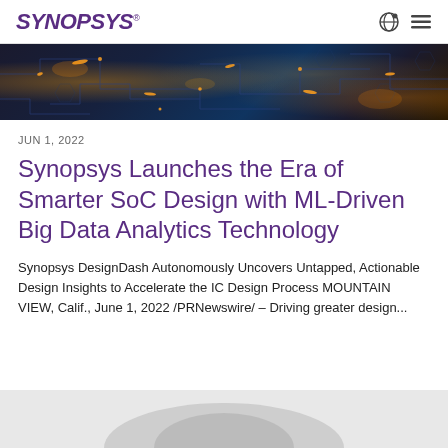SYNOPSYS
[Figure (photo): Dark circuit board / chip design background image with orange glowing traces and nodes on dark blue/black background]
JUN 1, 2022
Synopsys Launches the Era of Smarter SoC Design with ML-Driven Big Data Analytics Technology
Synopsys DesignDash Autonomously Uncovers Untapped, Actionable Design Insights to Accelerate the IC Design Process MOUNTAIN VIEW, Calif., June 1, 2022 /PRNewswire/ – Driving greater design...
[Figure (photo): Partial image at bottom of page showing a light gray figure/illustration, mostly cropped]